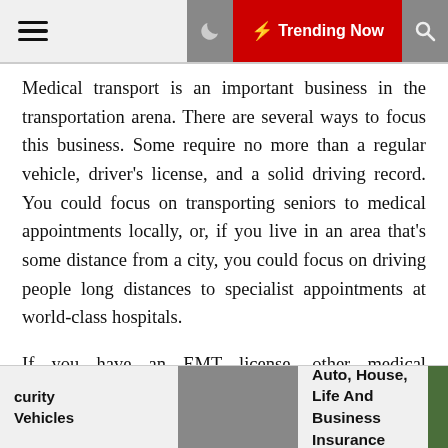≡  🌙  ⚡ Trending Now  🔍
Medical transport is an important business in the transportation arena. There are several ways to focus this business. Some require no more than a regular vehicle, driver's license, and a solid driving record. You could focus on transporting seniors to medical appointments locally, or, if you live in an area that's some distance from a city, you could focus on driving people long distances to specialist appointments at world-class hospitals.
If you have an EMT license, other medical credentials, or are willing to get them, you could start a business that contracts with hospitals to drive admitted patients to other medical facilities for specialized treatment; this would also require some specialty equipment like oxygen delivery and perhaps a vehicle that can transport a patient in a wheelchair.
curity Vehicles   Auto, House, Life And Business Insurance